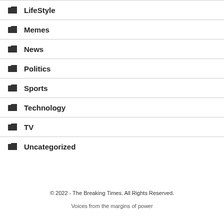LifeStyle
Memes
News
Politics
Sports
Technology
TV
Uncategorized
© 2022 - The Breaking Times. All Rights Reserved.
Voices from the margins of power